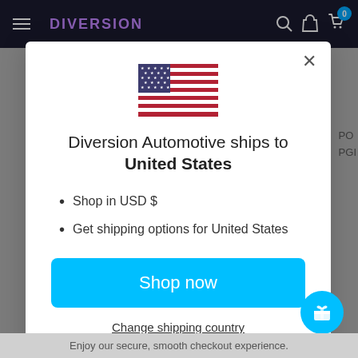DIVERSION — navigation bar with hamburger menu, search, account, cart (0)
[Figure (illustration): US flag emoji/icon centered in modal]
Diversion Automotive ships to United States
Shop in USD $
Get shipping options for United States
Shop now
Change shipping country
Enjoy our secure, smooth checkout experience.